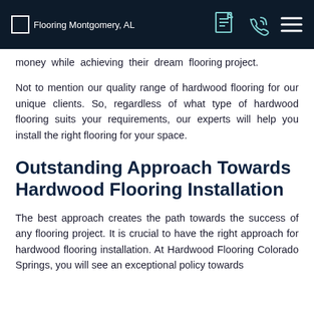Flooring Montgomery, AL
money while achieving their dream flooring project.
Not to mention our quality range of hardwood flooring for our unique clients. So, regardless of what type of hardwood flooring suits your requirements, our experts will help you install the right flooring for your space.
Outstanding Approach Towards Hardwood Flooring Installation
The best approach creates the path towards the success of any flooring project. It is crucial to have the right approach for hardwood flooring installation. At Hardwood Flooring Colorado Springs, you will see an exceptional policy towards